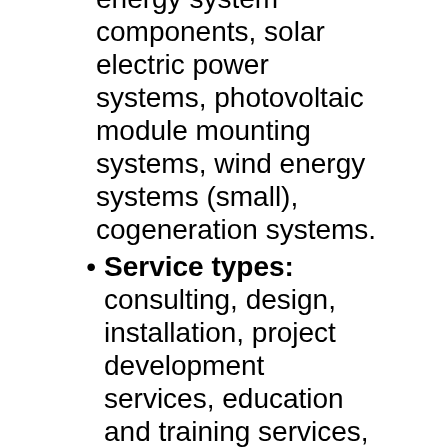energy system components, solar electric power systems, photovoltaic module mounting systems, wind energy systems (small), cogeneration systems.
Service types: consulting, design, installation, project development services, education and training services,